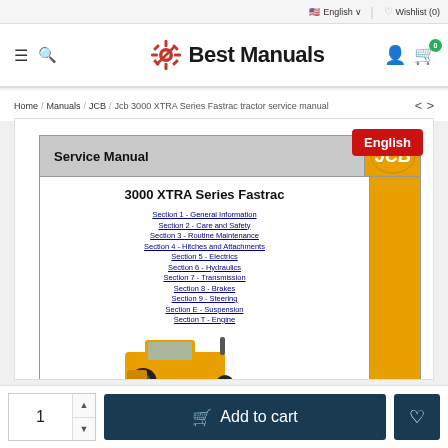English | Wishlist (0)
[Figure (logo): Best Manuals website logo with gear icon]
Home / Manuals / JCB / Jcb 3000 XTRA Series Fastrac tractor service manual
[Figure (screenshot): JCB 3000 XTRA Series Fastrac Service Manual cover showing table of contents with sections 1-7 including General Information, Care and Safety, Routine Maintenance, Hitches and Attachments, Electrics, Hydraulics, Transmission, Brakes, Steering, Suspension, Engine, and a tractor image. English badge in top right.]
1
Add to cart